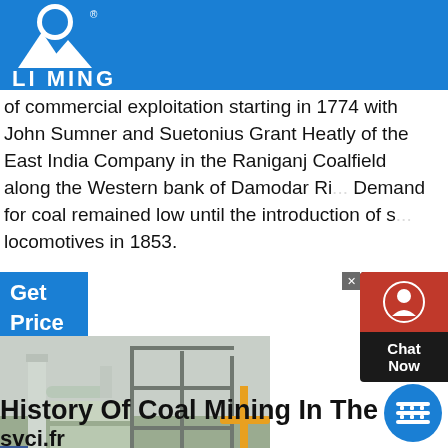[Figure (logo): Liming brand logo: white figure/mountains on blue background with LIMING text]
of commercial exploitation starting in 1774 with John Sumner and Suetonius Grant Heatly of the East India Company in the Raniganj Coalfield along the Western bank of Damodar Ri... Demand for coal remained low until the introduction of s... locomotives in 1853.
Get Price
[Figure (photo): Industrial coal mining plant with large metal structures, conveyors, chimneys and equipment under construction or operation]
History Of Coal Mining In The Damodar
svci.fr